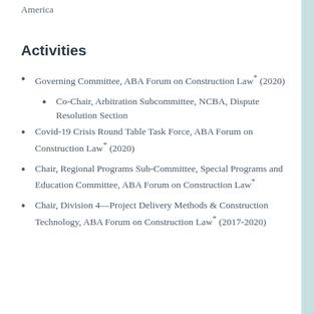America
Activities
Governing Committee, ABA Forum on Construction Law* (2020)
Co-Chair, Arbitration Subcommittee, NCBA, Dispute Resolution Section
Covid-19 Crisis Round Table Task Force, ABA Forum on Construction Law* (2020)
Chair, Regional Programs Sub-Committee, Special Programs and Education Committee, ABA Forum on Construction Law*
Chair, Division 4—Project Delivery Methods & Construction Technology, ABA Forum on Construction Law* (2017-2020)